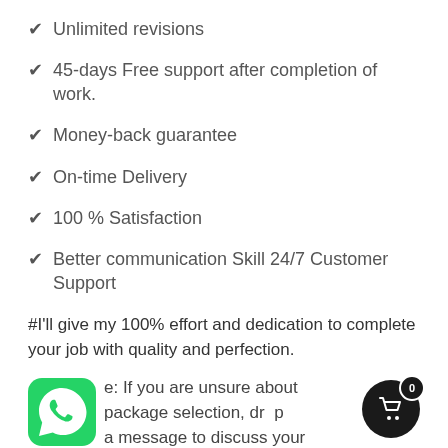✔ Unlimited revisions
✔ 45-days Free support after completion of work.
✔ Money-back guarantee
✔ On-time Delivery
✔ 100 % Satisfaction
✔ Better communication Skill 24/7 Customer Support
#I'll give my 100% effort and dedication to complete your job with quality and perfection.
e: If you are unsure about package selection, dr a message to discuss your requirements and ge a custom quote.